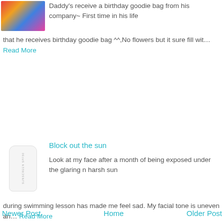[Figure (photo): Colorful birthday goodie bag items photo thumbnail]
Daddy's receive a birthday goodie bag from his company~ First time in his life that he receives birthday goodie bag ^^,No flowers but it sure fill wit... Read More
[Figure (photo): Sunscreen product bottle thumbnail]
Block out the sun
Look at my face after a month of being exposed under the glaring n harsh sun during swimming lesson has made me feel sad. My facial tone is uneven an... Read More
Newer Post   Home   Older Post